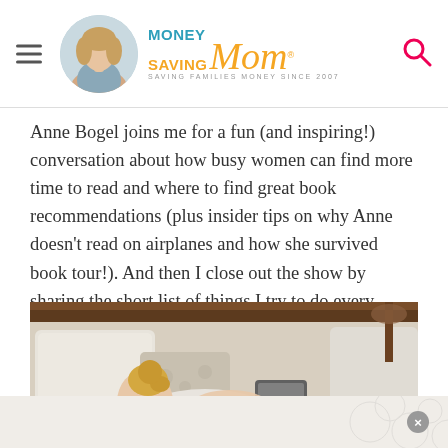MONEY SAVING Mom® — SAVING FAMILIES MONEY SINCE 2007
Anne Bogel joins me for a fun (and inspiring!) conversation about how busy women can find more time to read and where to find great book recommendations (plus insider tips on why Anne doesn't read on airplanes and how she survived book tour!). And then I close out the show by sharing the short list of things I try to do every single morning.
[Figure (photo): A woman with blonde hair in an updo lying on a bed reading a book, surrounded by decorative pillows]